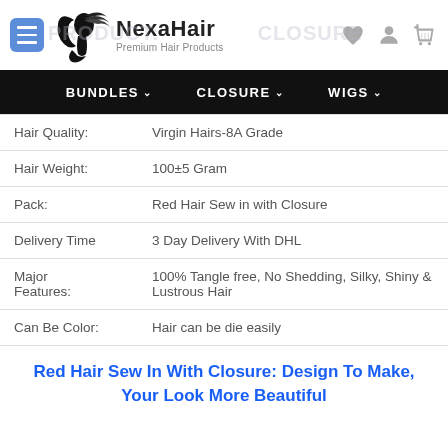[Figure (logo): NexaHair logo with woman silhouette and text 'NexaHair Premium Hair Products']
BUNDLES  CLOSURE  WIGS
| Hair Quality: | Virgin Hairs-8A Grade |
| Hair Weight: | 100±5 Gram |
| Pack: | Red Hair Sew in with Closure |
| Delivery Time | 3 Day Delivery With DHL |
| Major Features: | 100% Tangle free, No Shedding, Silky, Shiny & Lustrous Hair |
| Can Be Color: | Hair can be die easily |
Red Hair Sew In With Closure: Design To Make, Your Look More Beautiful